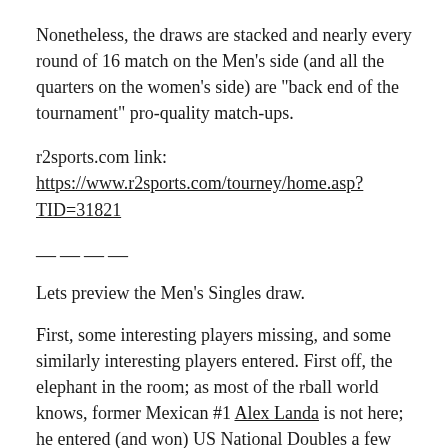Nonetheless, the draws are stacked and nearly every round of 16 match on the Men's side (and all the quarters on the women's side) are "back end of the tournament" pro-quality match-ups.
r2sports.com link: https://www.r2sports.com/tourney/home.asp?TID=31821
———
Lets preview the Men's Singles draw.
First, some interesting players missing, and some similarly interesting players entered. First off, the elephant in the room; as most of the rball world knows, former Mexican #1 Alex Landa is not here; he entered (and won) US National Doubles a few weeks ago after having asked for his release from the Mexican team mid